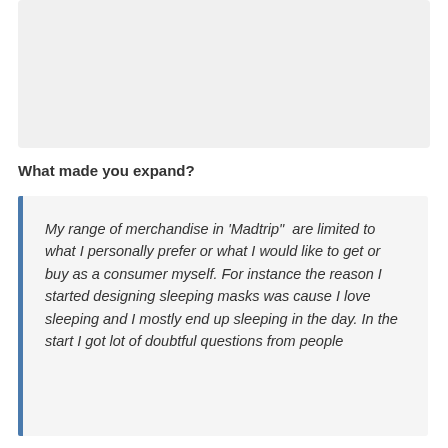[Figure (other): Gray placeholder image area at top of page]
What made you expand?
My range of merchandise in 'Madtrip" are limited to what I personally prefer or what I would like to get or buy as a consumer myself. For instance the reason I started designing sleeping masks was cause I love sleeping and I mostly end up sleeping in the day. In the start I got lot of doubtful questions from people